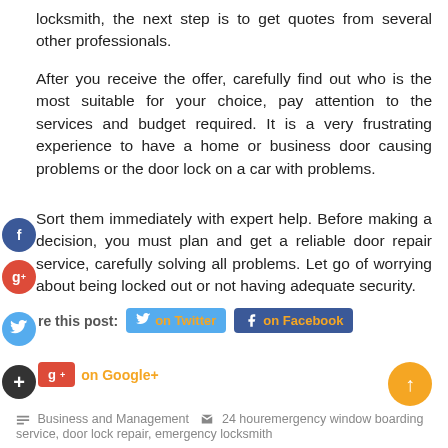locksmith, the next step is to get quotes from several other professionals.
After you receive the offer, carefully find out who is the most suitable for your choice, pay attention to the services and budget required. It is a very frustrating experience to have a home or business door causing problems or the door lock on a car with problems.
Sort them immediately with expert help. Before making a decision, you must plan and get a reliable door repair service, carefully solving all problems. Let go of worrying about being locked out or not having adequate security.
Share this post: on Twitter on Facebook on Google+
Business and Management   24 houremergency window boarding service, door lock repair, emergency locksmith